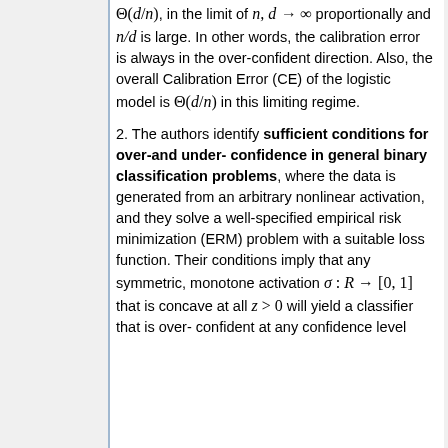Θ(d/n), in the limit of n, d → ∞ proportionally and n/d is large. In other words, the calibration error is always in the over-confident direction. Also, the overall Calibration Error (CE) of the logistic model is Θ(d/n) in this limiting regime.
2. The authors identify sufficient conditions for over-and under-confidence in general binary classification problems, where the data is generated from an arbitrary nonlinear activation, and they solve a well-specified empirical risk minimization (ERM) problem with a suitable loss function. Their conditions imply that any symmetric, monotone activation σ : R → [0, 1] that is concave at all z > 0 will yield a classifier that is over-confident at any confidence level.